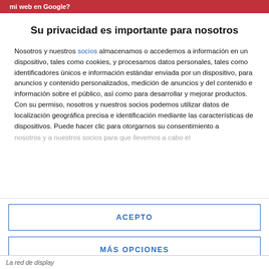mi web en Google?
Su privacidad es importante para nosotros
Nosotros y nuestros socios almacenamos o accedemos a información en un dispositivo, tales como cookies, y procesamos datos personales, tales como identificadores únicos e información estándar enviada por un dispositivo, para anuncios y contenido personalizados, medición de anuncios y del contenido e información sobre el público, así como para desarrollar y mejorar productos. Con su permiso, nosotros y nuestros socios podemos utilizar datos de localización geográfica precisa e identificación mediante las características de dispositivos. Puede hacer clic para otorgarnos su consentimiento a
nosotros y a nuestros socios para que llevemos a cabo el
ACEPTO
MÁS OPCIONES
La red de display